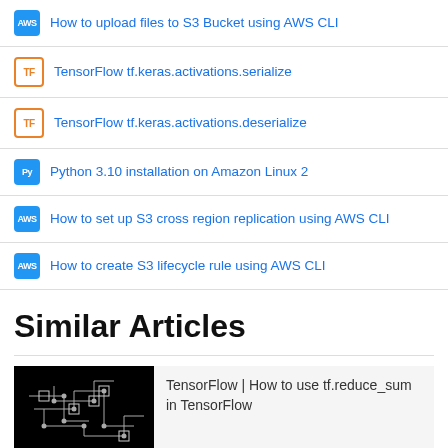How to upload files to S3 Bucket using AWS CLI
TensorFlow tf.keras.activations.serialize
TensorFlow tf.keras.activations.deserialize
Python 3.10 installation on Amazon Linux 2
How to set up S3 cross region replication using AWS CLI
How to create S3 lifecycle rule using AWS CLI
Similar Articles
[Figure (photo): Dark background with circuit board pattern illustration]
TensorFlow | How to use tf.reduce_sum in TensorFlow